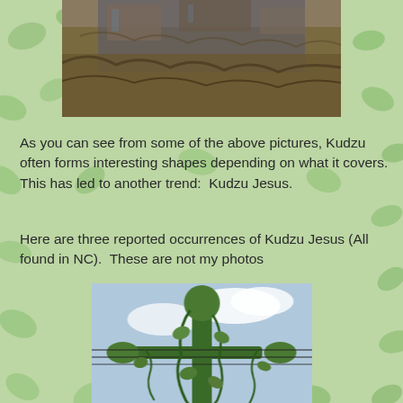[Figure (photo): Photo of kudzu-covered train or vehicle, brown dried vines covering a large object, partial view of structure underneath]
As you can see from some of the above pictures, Kudzu often forms interesting shapes depending on what it covers. This has led to another trend:  Kudzu Jesus.
Here are three reported occurrences of Kudzu Jesus (All found in NC).  These are not my photos
[Figure (photo): Photo of a utility pole or cross-shaped structure completely covered in kudzu vines, forming a human-like figure with outstretched arms (Kudzu Jesus), blue sky background]